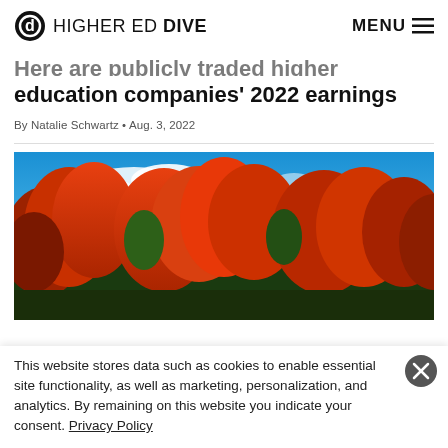HIGHER ED DIVE  MENU
Here are publicly traded higher education companies' 2022 earnings
By Natalie Schwartz • Aug. 3, 2022
[Figure (photo): Autumn trees with vivid orange and red foliage against a bright blue sky with white clouds]
This website stores data such as cookies to enable essential site functionality, as well as marketing, personalization, and analytics. By remaining on this website you indicate your consent. Privacy Policy